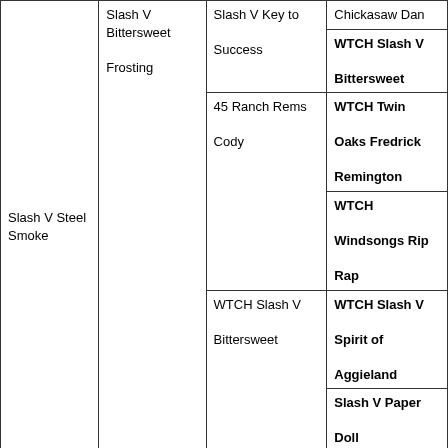| Slash V Steel Smoke | Slash V Bittersweet Frosting | Slash V Key to Success | Chickasaw Dan |
|  |  |  | WTCH Slash V Bittersweet |
|  |  | 45 Ranch Rems Cody | WTCH Twin Oaks Fredrick Remington |
|  |  |  | WTCH Windsongs Rip Rap |
|  |  | WTCH Slash V Bittersweet | WTCH Slash V Spirit of Aggieland |
|  |  |  | Slash V Paper Doll |
|  | Slash V Rufus | Slash V Easy Goer | WTCH Judds Chickasaw Dan |
|  |  |  | WTCH Slash V Bittersweet |
|  |  |  | Justus Quench |